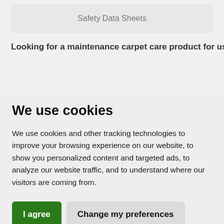[Figure (screenshot): Gray rounded rectangle button labeled 'Safety Data Sheets']
Looking for a maintenance carpet care product for use
We use cookies
We use cookies and other tracking technologies to improve your browsing experience on our website, to show you personalized content and targeted ads, to analyze our website traffic, and to understand where our visitors are coming from.
I agree | Change my preferences